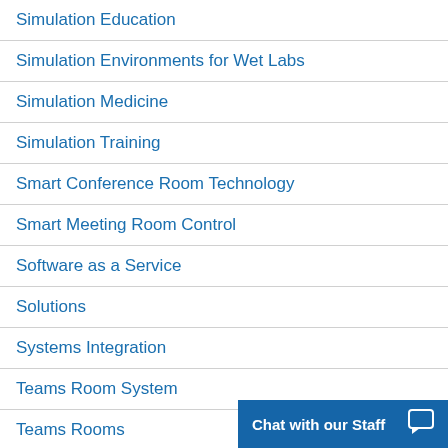Simulation Education
Simulation Environments for Wet Labs
Simulation Medicine
Simulation Training
Smart Conference Room Technology
Smart Meeting Room Control
Software as a Service
Solutions
Systems Integration
Teams Room System
Teams Rooms
Telemedicine
Chat with our Staff